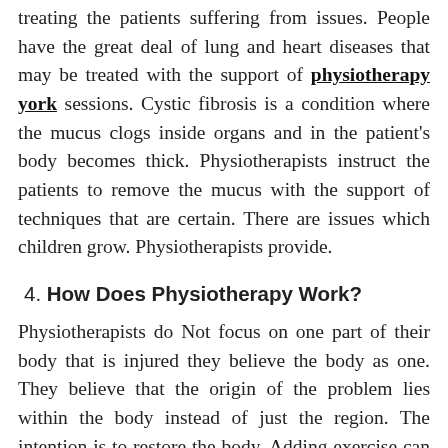treating the patients suffering from issues. People have the great deal of lung and heart diseases that may be treated with the support of physiotherapy york sessions. Cystic fibrosis is a condition where the mucus clogs inside organs and in the patient's body becomes thick. Physiotherapists instruct the patients to remove the mucus with the support of techniques that are certain. There are issues which children grow. Physiotherapists provide.
4. How Does Physiotherapy Work?
Physiotherapists do Not focus on one part of their body that is injured they believe the body as one. They believe that the origin of the problem lies within the body instead of just the region. The intention is to restore the body. Adding exercise can help to enhance the mobility of the area that is injured. The energy treatment which utilizes the recovery process to enhance and facilitate is remarkable. Hydrotherapy that is performed in water is amazing healing and breathing treatment. The...